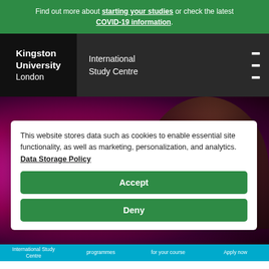Find out more about starting your studies or check the latest COVID-19 information.
[Figure (screenshot): Kingston University London International Study Centre navigation bar with logo and hamburger menu]
[Figure (photo): Blurred magenta background with partial face of a student on the right side]
This website stores data such as cookies to enable essential site functionality, as well as marketing, personalization, and analytics. Data Storage Policy
Accept
Deny
International Study Centre   programmes   for your course   Apply now